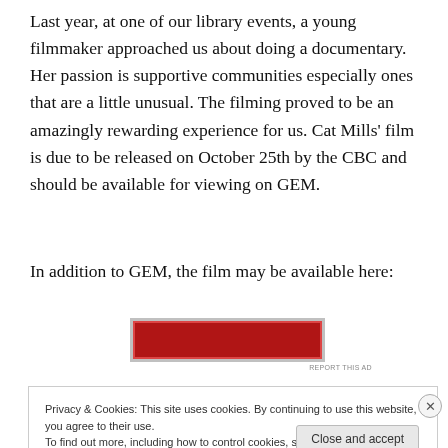Last year, at one of our library events, a young filmmaker approached us about doing a documentary. Her passion is supportive communities especially ones that are a little unusual. The filming proved to be an amazingly rewarding experience for us. Cat Mills’ film is due to be released on October 25th by the CBC and should be available for viewing on GEM.
In addition to GEM, the film may be available here:
[Figure (other): Red advertisement banner]
REPORT THIS AD
Privacy & Cookies: This site uses cookies. By continuing to use this website, you agree to their use.
To find out more, including how to control cookies, see here: Cookie Policy
Close and accept